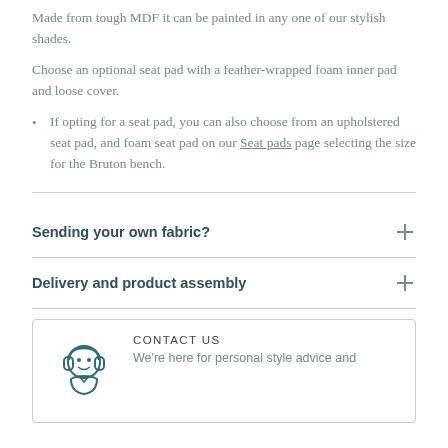Made from tough MDF it can be painted in any one of our stylish shades.
Choose an optional seat pad with a feather-wrapped foam inner pad and loose cover.
If opting for a seat pad, you can also choose from an upholstered seat pad, and foam seat pad on our Seat pads page selecting the size for the Bruton bench.
Sending your own fabric?
Delivery and product assembly
[Figure (illustration): Headphone-wearing character illustration for contact us section]
CONTACT US
We're here for personal style advice and